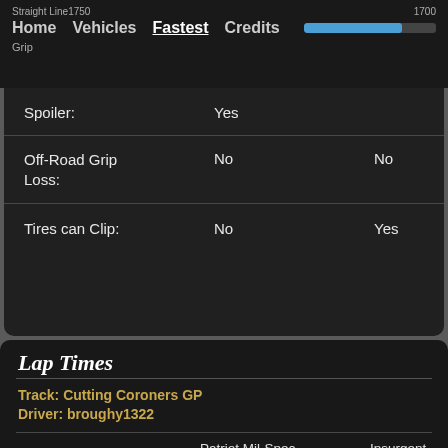Straight Line  1750  1700
Home  Vehicles  Fastest  Credits
Grip
| Property | Value 1 | Value 2 |
| --- | --- | --- |
| Spoiler: | Yes |  |
| Off-Road Grip Loss: | No | No |
| Tires can Clip: | No | Yes |
Lap Times
Track: Cutting Coroners GP
Driver: broughy1322
|  | Patriot Mil-Spec | Insurgent |
| --- | --- | --- |
| Lap Time | 1:17.144 | 01:14.141 |